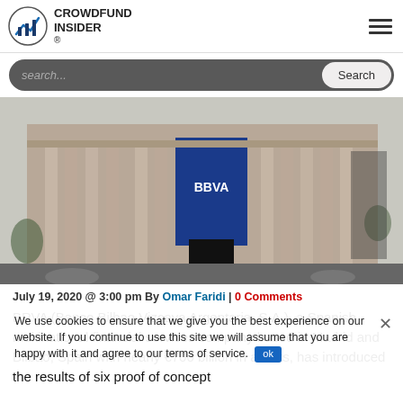CROWDFUND INSIDER
[Figure (photo): BBVA bank building exterior with large blue BBVA banner, classical architecture with columns]
July 19, 2020 @ 3:00 pm By Omar Faridi | 0 Comments
We use cookies to ensure that we give you the best experience on our website. If you continue to use this site we will assume that you are happy with it and agree to our terms of service.
BRVA (Banco Bilbao Vizcaya Argentaria, S.A.), a Spanish multinational financial services company based in Madrid and Bilbao, Spain with nearly €700 billion in assets, has introduced the results of six proof of concept